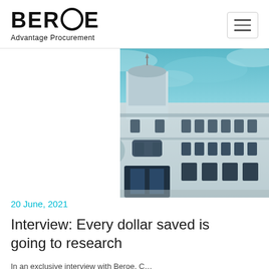BEROE Advantage Procurement
[Figure (illustration): Illustrated image of a classical government or academic building with a turret/dome, rendered in blue and white tones with artistic/painterly effect and teal sky background]
20 June, 2021
Interview: Every dollar saved is going to research
In an exclusive interview with Beroe, C...